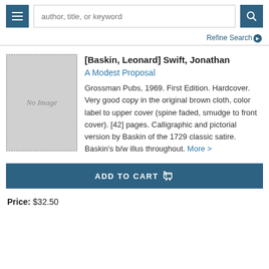author, title, or keyword
Refine Search
[Figure (other): Book cover placeholder showing 'No Image' text in italic on grey background with dotted border]
[Baskin, Leonard] Swift, Jonathan
A Modest Proposal
Grossman Pubs, 1969. First Edition. Hardcover. Very good copy in the original brown cloth, color label to upper cover (spine faded, smudge to front cover). [42] pages. Calligraphic and pictorial version by Baskin of the 1729 classic satire. Baskin's b/w illus throughout. More >
ADD TO CART
Price: $32.50